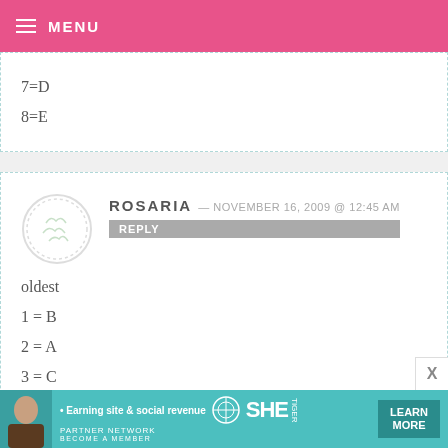MENU
7=D
8=E
ROSARIA — NOVEMBER 16, 2009 @ 12:45 AM
oldest
1 = B
2 = A
3 = C
4 = G
[Figure (infographic): SHE Partner Network advertisement banner at bottom: Earning site & social revenue, LEARN MORE button]